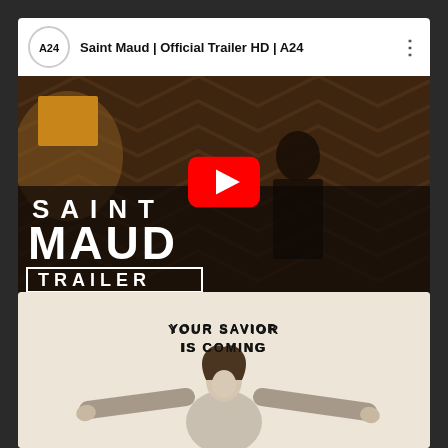[Figure (screenshot): YouTube video card showing Saint Maud Official Trailer HD A24 with A24 logo, video title, and thumbnail showing a figure with SAINT MAUD TRAILER text overlay and YouTube play button]
[Figure (photo): Saint Maud movie poster showing a woman in white robes with arms outstretched and text YOUR SAVIOR IS COMING at the top]